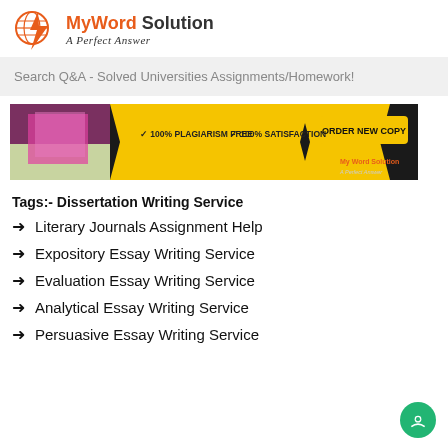[Figure (logo): My Word Solution logo with orange lightning bolt and globe icon, subtitle 'A Perfect Answer']
Search Q&A - Solved Universities Assignments/Homework!
[Figure (infographic): Advertisement banner: dark background with yellow chevron shapes, '100% PLAGIARISM FREE', '100% SATISFACTION', 'ORDER NEW COPY' button, My Word Solution logo, student reading book image]
Tags:- Dissertation Writing Service
Literary Journals Assignment Help
Expository Essay Writing Service
Evaluation Essay Writing Service
Analytical Essay Writing Service
Persuasive Essay Writing Service